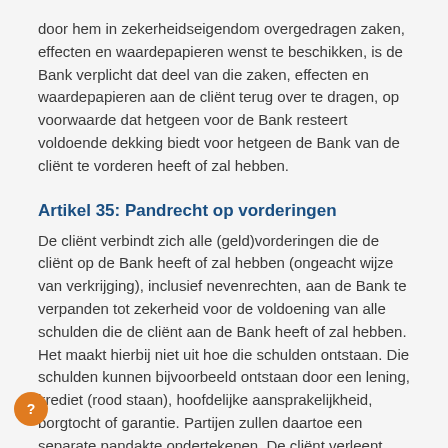door hem in zekerheidseigendom overgedragen zaken, effecten en waardepapieren wenst te beschikken, is de Bank verplicht dat deel van die zaken, effecten en waardepapieren aan de cliënt terug over te dragen, op voorwaarde dat hetgeen voor de Bank resteert voldoende dekking biedt voor hetgeen de Bank van de cliënt te vorderen heeft of zal hebben.
Artikel 35: Pandrecht op vorderingen
De cliënt verbindt zich alle (geld)vorderingen die de cliënt op de Bank heeft of zal hebben (ongeacht wijze van verkrijging), inclusief nevenrechten, aan de Bank te verpanden tot zekerheid voor de voldoening van alle schulden die de cliënt aan de Bank heeft of zal hebben. Het maakt hierbij niet uit hoe die schulden ontstaan. Die schulden kunnen bijvoorbeeld ontstaan door een lening, krediet (rood staan), hoofdelijke aansprakelijkheid, borgtocht of garantie. Partijen zullen daartoe een separate pandakte ondertekenen. De cliënt verleent volmacht aan de Bank om telkens wanneer de Bank nodig acht namens de cliënt de vorderingen aan zichzelf te verpanden en dit ook steeds bij herhaling te doen. Deze